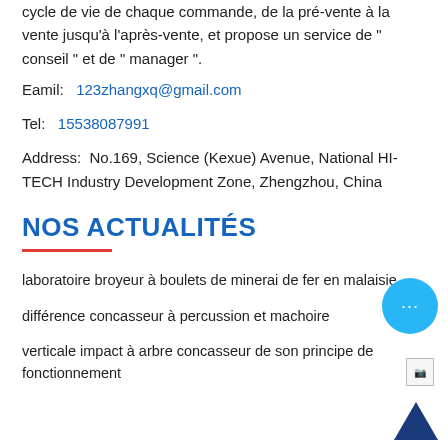cycle de vie de chaque commande, de la pré-vente à la vente jusqu'à l'après-vente, et propose un service de " conseil " et de " manager ".
Eamil:  123zhangxq@gmail.com
Tel:  15538087991
Address:  No.169, Science (Kexue) Avenue, National HI-TECH Industry Development Zone, Zhengzhou, China
NOS ACTUALITÉS
laboratoire broyeur à boulets de minerai de fer en malaisie
différence concasseur à percussion et machoire
verticale impact à arbre concasseur de son principe de fonctionnement